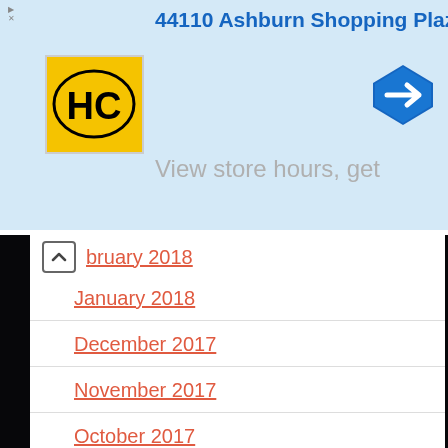44110 Ashburn Shopping Plaza 1.
View store hours, get
February 2018
January 2018
December 2017
November 2017
October 2017
September 2017
August 2017
July 2017